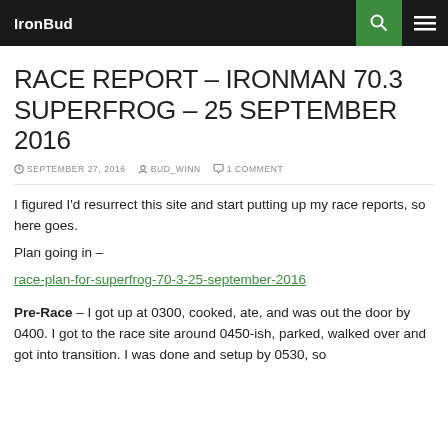IronBud
RACE REPORT – IRONMAN 70.3 SUPERFROG – 25 SEPTEMBER 2016
SEPTEMBER 27, 2016   BUD_WINN   1 COMMENT
I figured I'd resurrect this site and start putting up my race reports, so here goes.
Plan going in –
race-plan-for-superfrog-70-3-25-september-2016
Pre-Race – I got up at 0300, cooked, ate, and was out the door by 0400.  I got to the race site around 0450-ish, parked, walked over and got into transition.  I was done and setup by 0530, so